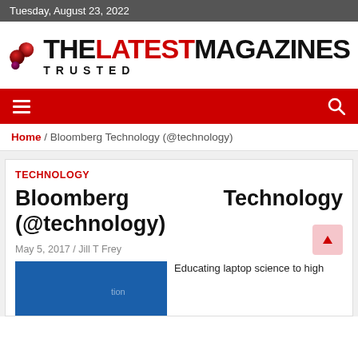Tuesday, August 23, 2022
[Figure (logo): TheLatestMagazines Trusted logo with red and dark spherical icon and bold text]
[Figure (other): Red navigation bar with hamburger menu icon on left and search icon on right]
Home / Bloomberg Technology (@technology)
TECHNOLOGY
Bloomberg (@technology)
Technology
May 5, 2017 / Jill T Frey
[Figure (photo): Blue background article image partially visible]
Educating laptop science to high